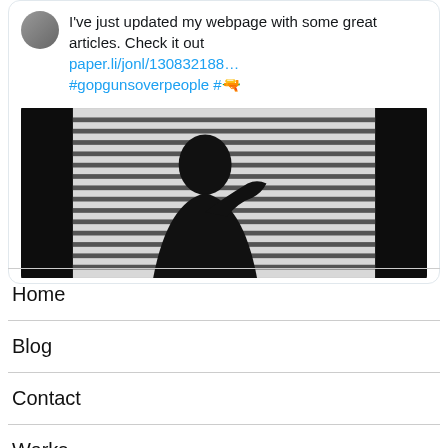I've just updated my webpage with some great articles. Check it out paper.li/jonl/130832188… #gopgunsoverpeople #🔫
[Figure (photo): Black and white silhouette of a person looking out through horizontal window blinds]
Home
Blog
Contact
Works